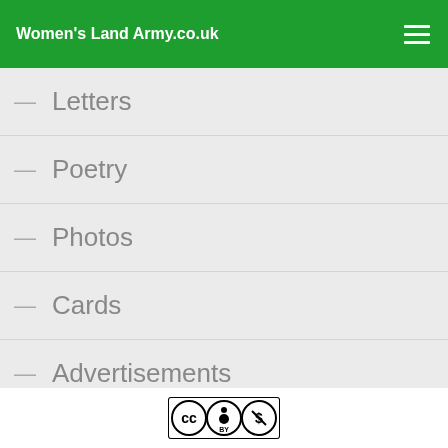Women's Land Army.co.uk
— Letters
— Poetry
— Photos
— Cards
— Advertisements
— Documents
[Figure (logo): Creative Commons BY-NC license badge]